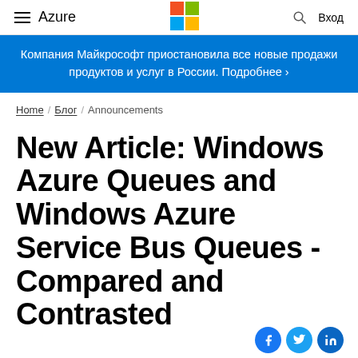Azure — Microsoft Azure navigation bar with hamburger menu, Microsoft logo, search, and Вход (login)
Компания Майкрософт приостановила все новые продажи продуктов и услуг в России. Подробнее >
Home / Блог / Announcements
New Article: Windows Azure Queues and Windows Azure Service Bus Queues - Compared and Contrasted